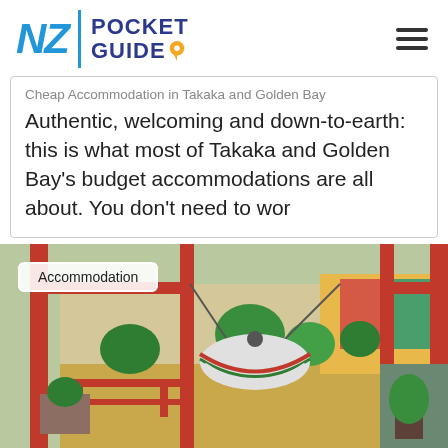NZ POCKET GUIDE
Cheap Accommodation in Takaka and Golden Bay
Authentic, welcoming and down-to-earth: this is what most of Takaka and Golden Bay's budget accommodations are all about. You don't need to wor
[Figure (photo): A colourful hostel outdoor area with a hanging hammock chair, red timber structures, green plants, picnic tables, and a painted deck. An 'Accommodation' label overlays the image.]